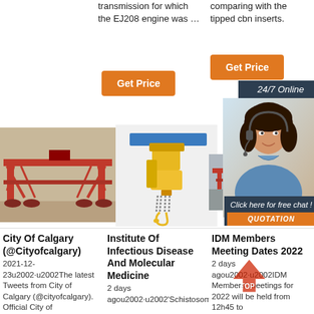transmission for which the EJ208 engine was …
comparing with the tipped cbn inserts.
[Figure (other): Orange 'Get Price' button (mid column)]
[Figure (other): Orange 'Get Price' button (right column)]
[Figure (other): Dark box with '24/7 Online' text]
[Figure (photo): Red bridge crane / gantry crane on a road]
[Figure (photo): Yellow electric chain hoist with blue beam]
[Figure (photo): Chat support lady with headset, 24/7 online widget with 'Click here for free chat!' and QUOTATION button]
City Of Calgary (@Cityofcalgary)
2021-12-23u2002·u2002The latest Tweets from City of Calgary (@cityofcalgary). Official City of
Institute Of Infectious Disease And Molecular Medicine
2 days agou2002·u2002'Schistosomiasis
IDM Members Meeting Dates 2022
2 days agou2002·u2002IDM Members' meetings for 2022 will be held from 12h45 to